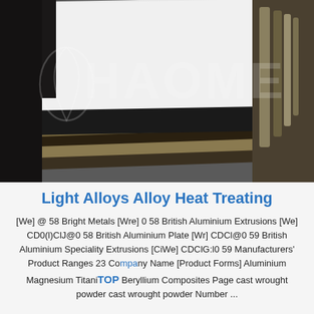[Figure (photo): Stack of metal sheets or folders with black binding, wood edge strips visible, with a semi-transparent 'HAOME' watermark overlaid on the photo.]
Light Alloys Alloy Heat Treating
[We] @ 58 Bright Metals [Wre] 0 58 British Aluminium Extrusions [We] CD0(l)ClJ@0 58 British Aluminium Plate [Wr] CDCl@0 59 British Aluminium Speciality Extrusions [CiWe] CDClG:l0 59 Manufacturers' Product Ranges 23 Company Name [Product Forms] Aluminium Magnesium Titanium Beryllium Composites Page cast wrought powder cast wrought powder Number ...